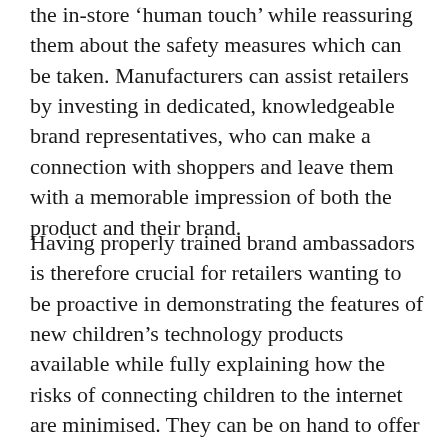the in-store ‘human touch’ while reassuring them about the safety measures which can be taken. Manufacturers can assist retailers by investing in dedicated, knowledgeable brand representatives, who can make a connection with shoppers and leave them with a memorable impression of both the product and their brand.
Having properly trained brand ambassadors is therefore crucial for retailers wanting to be proactive in demonstrating the features of new children’s technology products available while fully explaining how the risks of connecting children to the internet are minimised. They can be on hand to offer assistance, showcase the products and offer tutorials on how to use them. These staff are in a position – one that can’t be easily replicated online—to demonstrate products which are tailored to each customer’s need and play a vital role in boosting attach rate.